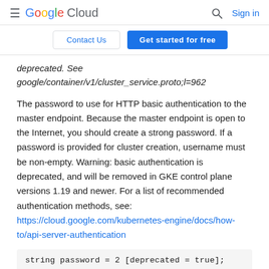Google Cloud  [search icon]  Sign in
Contact Us   Get started for free
deprecated. See google/container/v1/cluster_service.proto;l=962
The password to use for HTTP basic authentication to the master endpoint. Because the master endpoint is open to the Internet, you should create a strong password. If a password is provided for cluster creation, username must be non-empty. Warning: basic authentication is deprecated, and will be removed in GKE control plane versions 1.19 and newer. For a list of recommended authentication methods, see: https://cloud.google.com/kubernetes-engine/docs/how-to/api-server-authentication